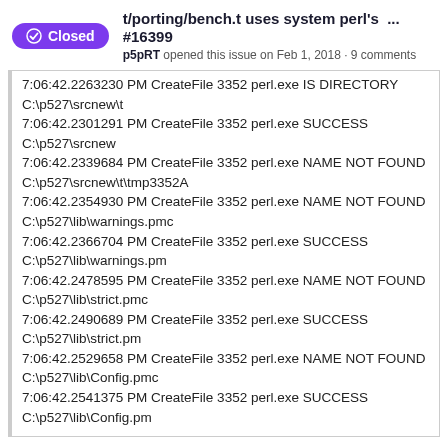t/porting/bench.t uses system perl's ... #16399 p5pRT opened this issue on Feb 1, 2018 · 9 comments
7:06:42.2263230 PM CreateFile 3352 perl.exe IS DIRECTORY
C:\p527\srcnew\t
7:06:42.2301291 PM CreateFile 3352 perl.exe SUCCESS
C:\p527\srcnew
7:06:42.2339684 PM CreateFile 3352 perl.exe NAME NOT FOUND C:\p527\srcnew\t\tmp3352A
7:06:42.2354930 PM CreateFile 3352 perl.exe NAME NOT FOUND C:\p527\lib\warnings.pmc
7:06:42.2366704 PM CreateFile 3352 perl.exe SUCCESS
C:\p527\lib\warnings.pm
7:06:42.2478595 PM CreateFile 3352 perl.exe NAME NOT FOUND C:\p527\lib\strict.pmc
7:06:42.2490689 PM CreateFile 3352 perl.exe SUCCESS
C:\p527\lib\strict.pm
7:06:42.2529658 PM CreateFile 3352 perl.exe NAME NOT FOUND C:\p527\lib\Config.pmc
7:06:42.2541375 PM CreateFile 3352 perl.exe SUCCESS
C:\p527\lib\Config.pm